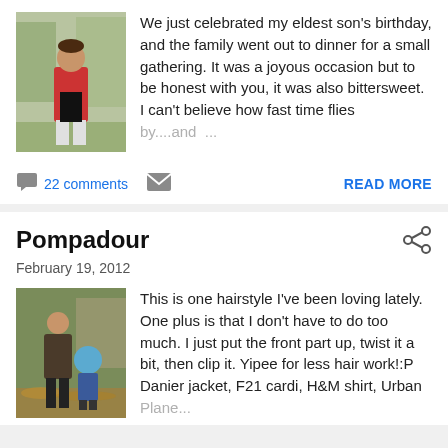[Figure (photo): A person standing outdoors wearing a red jacket and black outfit, with trees in the background.]
We just celebrated my eldest son's birthday, and the family went out to dinner for a small gathering. It was a joyous occasion but to be honest with you, it was also bittersweet. I can't believe how fast time flies by....and ...
22 comments   READ MORE
Pompadour
February 19, 2012
[Figure (photo): Two people standing outdoors, one adult and one child in a blue hat, with autumn leaves on the ground.]
This is one hairstyle I've been loving lately. One plus is that I don't have to do too much. I just put the front part up, twist it a bit, then clip it. Yipee for less hair work!:P Danier jacket, F21 cardi, H&M shirt, Urban Plane...